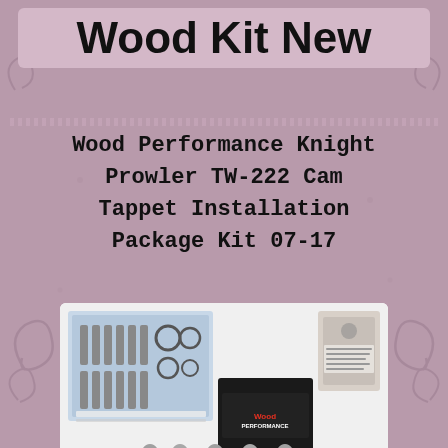Wood Kit New
Wood Performance Knight Prowler TW-222 Cam Tappet Installation Package Kit 07-17
[Figure (photo): Product photo showing Wood Performance Knight Prowler cam tappet kit components including camshafts, tappets, gaskets, installation hardware, and a black Wood Performance branded box, with eBay watermark overlay.]